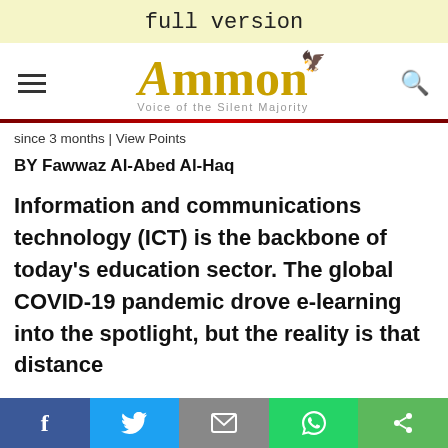full version
[Figure (logo): Ammon News logo with tagline 'Voice of the Silent Majority' and hamburger menu icon and search icon]
since 3 months | View Points
BY Fawwaz Al-Abed Al-Haq
Information and communications technology (ICT) is the backbone of today's education sector. The global COVID-19 pandemic drove e-learning into the spotlight, but the reality is that distance
f  [twitter]  [email]  [whatsapp]  [share]